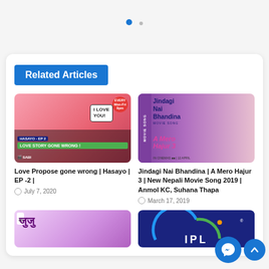[Figure (other): Pagination dots - one active blue dot and one inactive grey dot]
Related Articles
[Figure (photo): Thumbnail for 'Love Propose gone wrong | Hasayo | EP -2 |' showing hands forming heart shape with 'I LOVE YOU' speech bubble, green banner 'LOVE STORY GONE WRONG!', Sabi logo and follow us text]
Love Propose gone wrong | Hasayo | EP -2 |
July 7, 2020
[Figure (photo): Thumbnail for Jindagi Nai Bhandina movie song from A Mero Hajur 3, showing couple embracing with purple/pink design, 'MOVIE SONG' vertical text, IN CINEMAS text]
Jindagi Nai Bhandina | A Mero Hajur 3 | New Nepali Movie Song 2019 | Anmol KC, Suhana Thapa
March 17, 2019
[Figure (photo): Bottom left thumbnail showing a couple - Nepali content]
[Figure (logo): Bottom right thumbnail showing IPL logo on dark blue background with colorful arc]